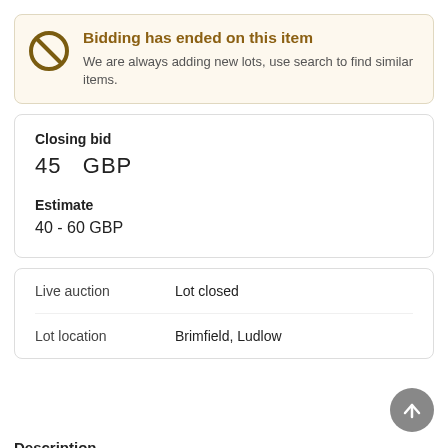Bidding has ended on this item. We are always adding new lots, use search to find similar items.
Closing bid
45   GBP
Estimate
40 - 60 GBP
| Live auction | Lot closed |
| Lot location | Brimfield, Ludlow |
Description